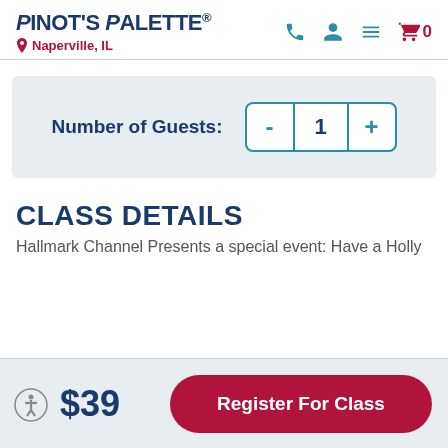Pinot's Palette - Naperville, IL
Number of Guests: 1
CLASS DETAILS
Hallmark Channel Presents a special event: Have a Holly
$39  Register For Class